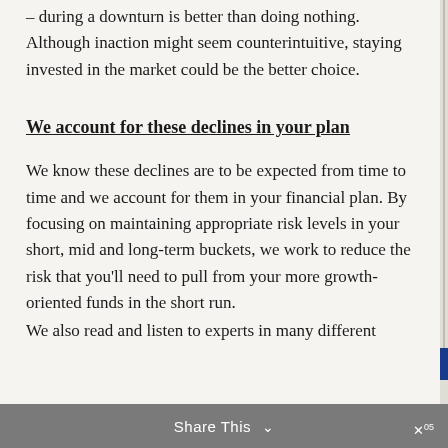– during a downturn is better than doing nothing. Although inaction might seem counterintuitive, staying invested in the market could be the better choice.
We account for these declines in your plan
We know these declines are to be expected from time to time and we account for them in your financial plan. By focusing on maintaining appropriate risk levels in your short, mid and long-term buckets, we work to reduce the risk that you'll need to pull from your more growth-oriented funds in the short run.
We also read and listen to experts in many different
Share This ∨